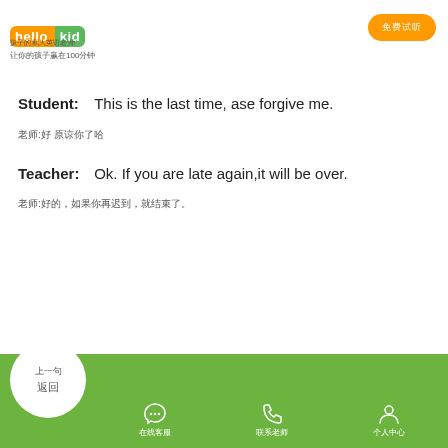hello kid — 孩子的私人英语老师 让你的孩子赢在100分
Student:    This is the last time, ase forgive me.
老师:好 原谅你了哈
Teacher:    Ok. If you are late again,it will be over.
老师:好的，如果你再迟到，就结束了。
上一句
返回   在线客服   联系老师   个人中心